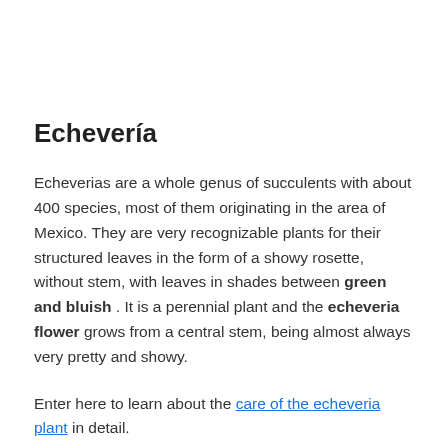Echevería
Echeverias are a whole genus of succulents with about 400 species, most of them originating in the area of Mexico. They are very recognizable plants for their structured leaves in the form of a showy rosette, without stem, with leaves in shades between green and bluish . It is a perennial plant and the echeveria flower grows from a central stem, being almost always very pretty and showy.
Enter here to learn about the care of the echeveria plant in detail.